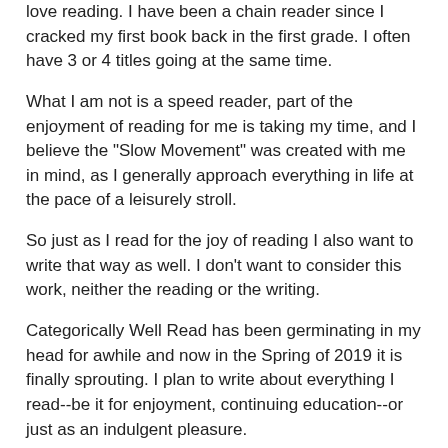love reading. I have been a chain reader since I cracked my first book back in the first grade. I often have 3 or 4 titles going at the same time.
What I am not is a speed reader, part of the enjoyment of reading for me is taking my time, and I believe the "Slow Movement" was created with me in mind, as I generally approach everything in life at the pace of a leisurely stroll.
So just as I read for the joy of reading I also want to write that way as well. I don't want to consider this work, neither the reading or the writing.
Categorically Well Read has been germinating in my head for awhile and now in the Spring of 2019 it is finally sprouting. I plan to write about everything I read--be it for enjoyment, continuing education--or just as an indulgent pleasure.
I will post about categorical reading, the seasons, Paris, royal reading, birth history, wife in the title, the cooking life, books about books...these are the one's that I am using to get this page started.